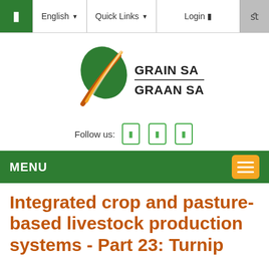[Figure (screenshot): Website navigation bar with green icon, English dropdown, Quick Links dropdown, Login button, and search icon on grey background]
[Figure (logo): Grain SA / Graan SA logo with stylized leaf/grain graphic in green, yellow and orange]
Follow us:
Integrated crop and pasture-based livestock production systems - Part 23: Turnip